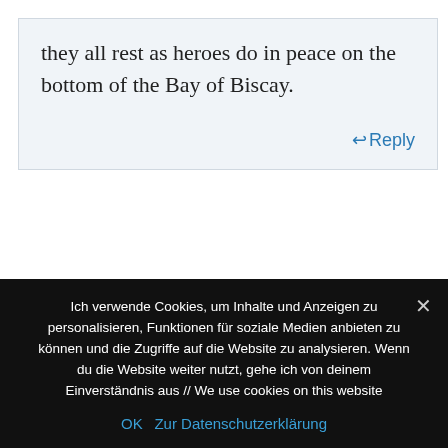they all rest as heroes do in peace on the bottom of the Bay of Biscay.
↩ Reply
Write comment
Name:   E-Mail:   Web
Ich verwende Cookies, um Inhalte und Anzeigen zu personalisieren, Funktionen für soziale Medien anbieten zu können und die Zugriffe auf die Website zu analysieren. Wenn du die Website weiter nutzt, gehe ich von deinem Einverständnis aus // We use cookies on this website
OK   Zur Datenschutzerklärung